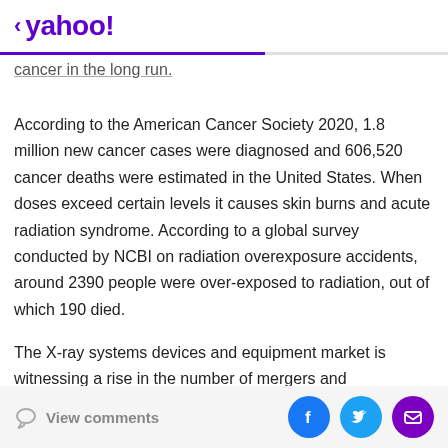< yahoo!
cancer in the long run.
According to the American Cancer Society 2020, 1.8 million new cancer cases were diagnosed and 606,520 cancer deaths were estimated in the United States. When doses exceed certain levels it causes skin burns and acute radiation syndrome. According to a global survey conducted by NCBI on radiation overexposure accidents, around 2390 people were over-exposed to radiation, out of which 190 died.
The X-ray systems devices and equipment market is witnessing a rise in the number of mergers and
View comments